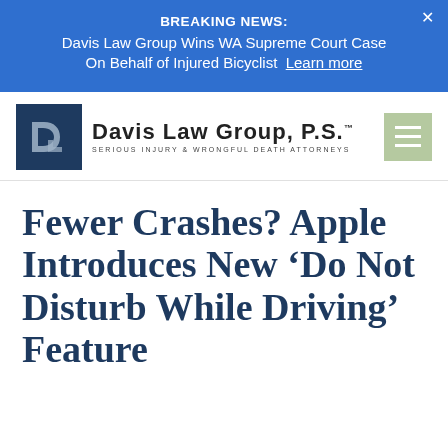BREAKING NEWS: Davis Law Group Wins WA Supreme Court Case On Behalf of Injured Bicyclist  Learn more
[Figure (logo): Davis Law Group P.S. logo with DLG monogram icon in navy blue square, firm name in bold, tagline 'Serious Injury & Wrongful Death Attorneys', and a green hamburger menu icon on the right]
Fewer Crashes? Apple Introduces New ‘Do Not Disturb While Driving’ Feature